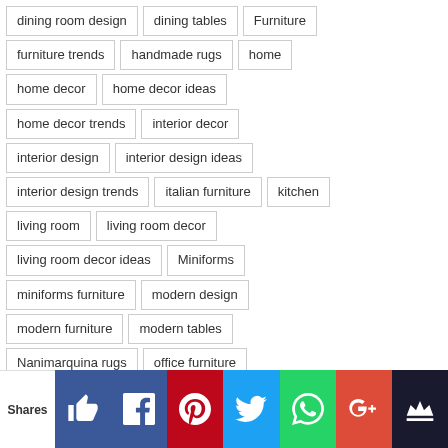dining room design
dining tables
Furniture
furniture trends
handmade rugs
home
home decor
home decor ideas
home decor trends
interior decor
interior design
interior design ideas
interior design trends
italian furniture
kitchen
living room
living room decor
living room decor ideas
Miniforms
miniforms furniture
modern design
modern furniture
modern tables
Nanimarquina rugs
office furniture